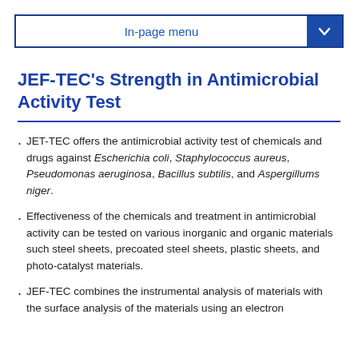In-page menu
JEF-TEC's Strength in Antimicrobial Activity Test
JET-TEC offers the antimicrobial activity test of chemicals and drugs against Escherichia coli, Staphylococcus aureus, Pseudomonas aeruginosa, Bacillus subtilis, and Aspergillums niger.
Effectiveness of the chemicals and treatment in antimicrobial activity can be tested on various inorganic and organic materials such steel sheets, precoated steel sheets, plastic sheets, and photo-catalyst materials.
JEF-TEC combines the instrumental analysis of materials with the surface analysis of the materials using an electron